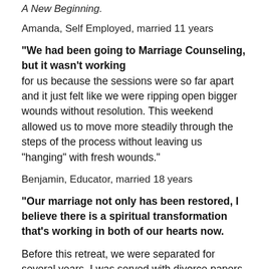A New Beginning.
Amanda, Self Employed, married 11 years
“We had been going to Marriage Counseling, but it wasn’t working for us because the sessions were so far apart and it just felt like we were ripping open bigger wounds without resolution. This weekend allowed us to move more steadily through the steps of the process without leaving us “hanging” with fresh wounds.”
Benjamin, Educator, married 18 years
“Our marriage not only has been restored, I believe there is a spiritual transformation that’s working in both of our hearts now.
Before this retreat, we were separated for several years. I was served with divorce papers a couple of years ago. Surprisingly, he dropped the divorce proceedings the day we were in court. I knew Christ